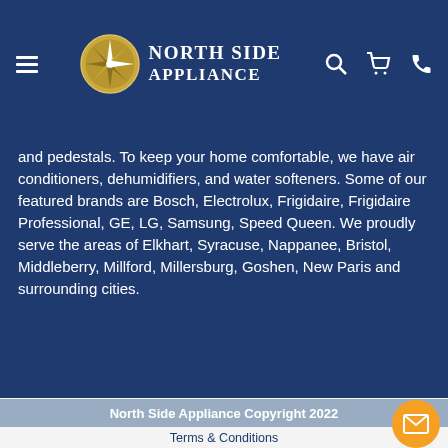North Side Appliance — navigation header with hamburger menu, logo, search, cart, and phone icons
and pedestals. To keep your home comfortable, we have air conditioners, dehumidifiers, and water softeners. Some of our featured brands are Bosch, Electrolux, Frigidaire, Frigidaire Professional, GE, LG, Samsung, Speed Queen. We proudly serve the areas of Elkhart, Syracuse, Nappanee, Bristol, Middleberry, Millford, Millersburg, Goshen, New Paris and surrounding cities.
North Side Appliance Copyright 2022
Terms & Conditions
Privacy Policy
Accessibility